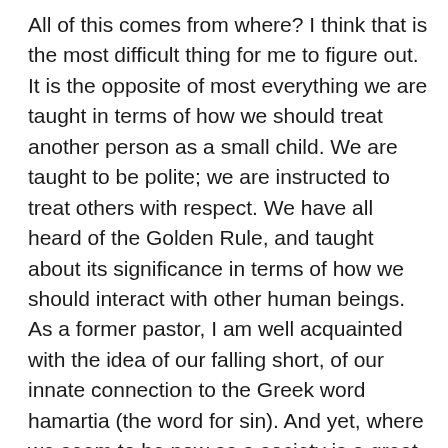All of this comes from where? I think that is the most difficult thing for me to figure out. It is the opposite of most everything we are taught in terms of how we should treat another person as a small child. We are taught to be polite; we are instructed to treat others with respect. We have all heard of the Golden Rule, and taught about its significance in terms of how we should interact with other human beings. As a former pastor, I am well acquainted with the idea of our falling short, of our innate connection to the Greek word hamartia (the word for sin). And yet, where we seem to be now as a society is a great deal beyond the idea of falling short; for those old enough, it falls far beyond the Flip Wilson adage of “the devil made me do it.” For me it falls back to a quad-fecta of the seven deadly sins: the four are greed, envy, wrath, and pride. Pride, according to some is the most problematic. In fact, C.S. Lewis, in his book,